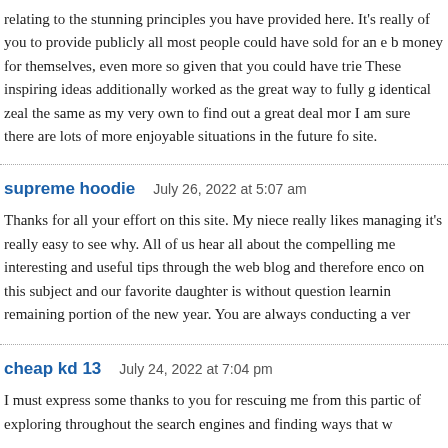relating to the stunning principles you have provided here. It's really of you to provide publicly all most people could have sold for an e b money for themselves, even more so given that you could have trie These inspiring ideas additionally worked as the great way to fully g identical zeal the same as my very own to find out a great deal mor I am sure there are lots of more enjoyable situations in the future fo site.
supreme hoodie   July 26, 2022 at 5:07 am
Thanks for all your effort on this site. My niece really likes managing it's really easy to see why. All of us hear all about the compelling me interesting and useful tips through the web blog and therefore enco on this subject and our favorite daughter is without question learnin remaining portion of the new year. You are always conducting a ver
cheap kd 13   July 24, 2022 at 7:04 pm
I must express some thanks to you for rescuing me from this partic of exploring throughout the search engines and finding ways that w